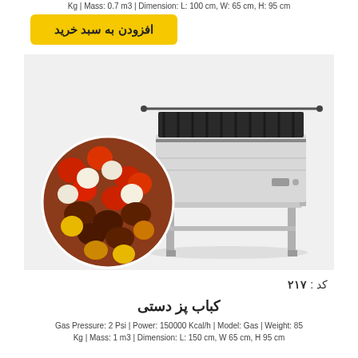Kg | Mass: 0.7 m3 | Dimension: L: 100 cm, W: 65 cm, H: 95 cm
افزودن به سبد خرید
[Figure (photo): A commercial gas kebab grill on stainless steel legs shown with a circular inset of skewered meat and vegetables]
کد : ۲۱۷
کباب پز دستی
Gas Pressure: 2 Psi | Power: 150000 Kcal/h | Model: Gas | Weight: 85 Kg | Mass: 1 m3 | Dimension: L: 150 cm, W 65 cm, H 95 cm